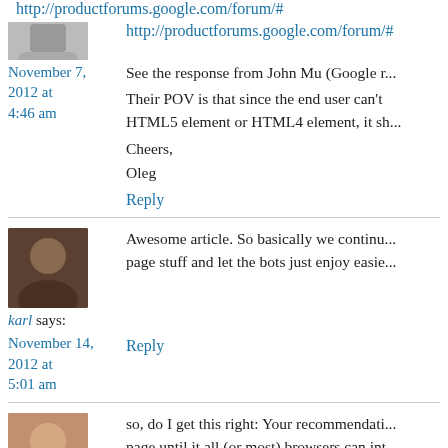http://productforums.google.com/forum/#
November 7, 2012 at 4:46 am
See the response from John Mu (Google r...
Their POV is that since the end user can't HTML5 element or HTML4 element, it sh...
Cheers,
Oleg
Reply
karl says:
Awesome article. So basically we continu... page stuff and let the bots just enjoy easie...
November 14, 2012 at 5:01 am
Reply
andrej says:
so, do I get this right: Your recommendati... page until it all (or most) browsers can int...
November 14, 2012 at 5:10 pm
How does google now, if an h1 that is sem... standalone section that is a child of the h1...